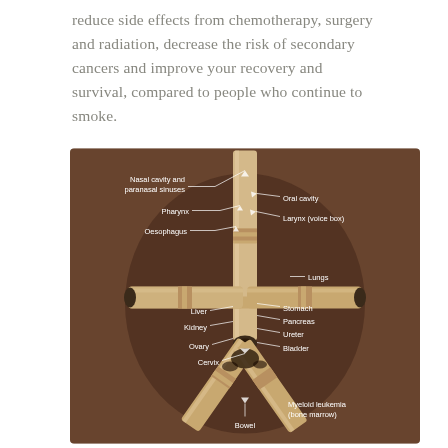reduce side effects from chemotherapy, surgery and radiation, decrease the risk of secondary cancers and improve your recovery and survival, compared to people who continue to smoke.
[Figure (illustration): Sepia-toned photograph of cigarettes arranged to resemble a human body, with anatomical labels pointing to body parts affected by smoking: Nasal cavity and paranasal sinuses, Pharynx, Oesophagus, Oral cavity, Larynx (voice box), Lungs, Liver, Stomach, Pancreas, Kidney, Ureter, Ovary, Bladder, Cervix, Myeloid leukemia (bone marrow), Bowel.]